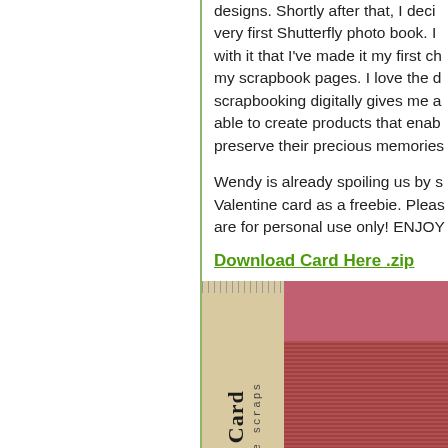designs. Shortly after that, I decided to make my very first Shutterfly photo book. I was so pleased with it that I've made it my first choice for printing my scrapbook pages. I love the digital age and scrapbooking digitally gives me a platform for being able to create products that enable people to preserve their precious memories.
Wendy is already spoiling us by sharing a Valentine card as a freebie. Please remember these are for personal use only! ENJOY!
Download Card Here .zip
[Figure (photo): A scrapbook Valentine card image showing a spine strip with 'rtFull Card' and 'wendyzine scraps' text in vertical orientation with ruler tick marks, alongside a red/pink card with burlap texture and a heart cutout in the lower right corner.]